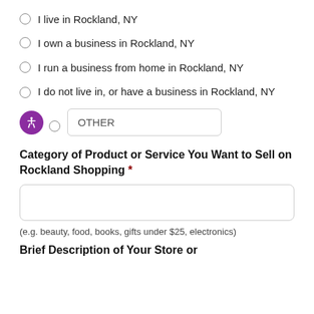I live in Rockland, NY
I own a business in Rockland, NY
I run a business from home in Rockland, NY
I do not live in, or have a business in Rockland, NY
OTHER
Category of Product or Service You Want to Sell on Rockland Shopping *
(e.g. beauty, food, books, gifts under $25, electronics)
Brief Description of Your Store or